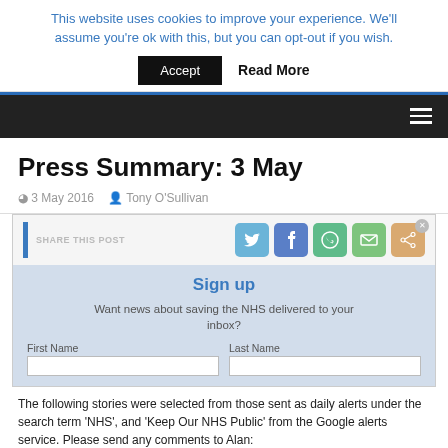This website uses cookies to improve your experience. We'll assume you're ok with this, but you can opt-out if you wish.
Accept   Read More
Press Summary: 3 May
3 May 2016   Tony O'Sullivan
[Figure (screenshot): Share this post bar with Twitter, Facebook, WhatsApp, Email, and share icons, overlaid with a 'Sign up' popup for NHS news alerts, including First Name and Last Name fields.]
The following stories were selected from those sent as daily alerts under the search term 'NHS', and 'Keep Our NHS Public' from the Google alerts service. Please send any comments to Alan: press@keepournhspublic.com